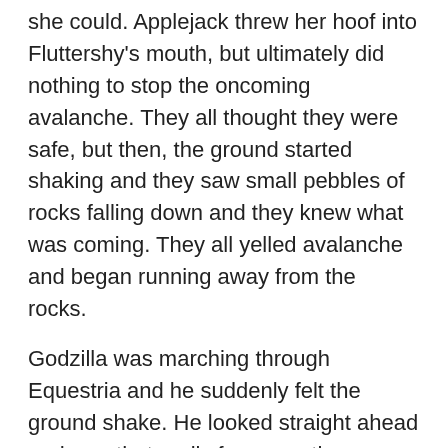she could. Applejack threw her hoof into Fluttershy's mouth, but ultimately did nothing to stop the oncoming avalanche. They all thought they were safe, but then, the ground started shaking and they saw small pebbles of rocks falling down and they knew what was coming. They all yelled avalanche and began running away from the rocks.
Godzilla was marching through Equestria and he suddenly felt the ground shake. He looked straight ahead and saw that really far away, there was an avalanche happening on that mountain. His scales lit up once more and he began to pick up the pace. Back on the mountain, Twilight kept running, but she knew she was about to get crushed. Before that happened, Applejack tackled her out of the way and they made it